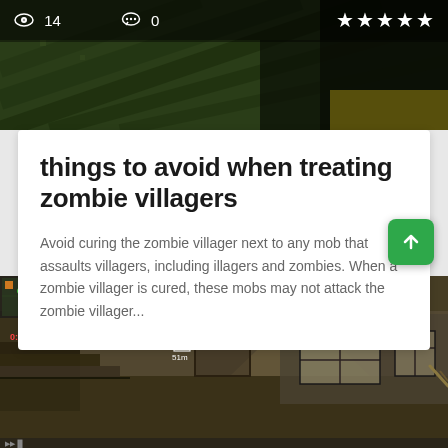[Figure (screenshot): Top portion of a Minecraft-style game screenshot showing terrain from above with dark green/brown landscape, with a stats bar showing views, comments, and star rating]
👁 14   💬 0   ★★★★★
things to avoid when treating zombie villagers
Avoid curing the zombie villager next to any mob that assaults villagers, including illagers and zombies. When a zombie villager is cured, these mobs may not attack the zombie villager...
[Figure (screenshot): Bottom portion showing a first-person shooter game screenshot (Call of Duty style) with indoor corridor, HUD elements showing loadout drop marker, 51m distance, timer 0:23, ambient indoor lighting]